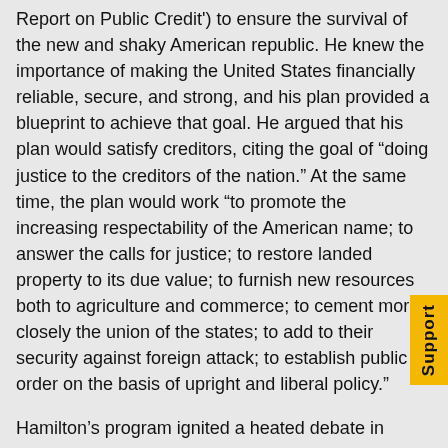Report on Public Credit') to ensure the survival of the new and shaky American republic. He knew the importance of making the United States financially reliable, secure, and strong, and his plan provided a blueprint to achieve that goal. He argued that his plan would satisfy creditors, citing the goal of “doing justice to the creditors of the nation.” At the same time, the plan would work “to promote the increasing respectability of the American name; to answer the calls for justice; to restore landed property to its due value; to furnish new resources both to agriculture and commerce; to cement more closely the union of the states; to add to their security against foreign attack; to establish public order on the basis of upright and liberal policy.”
Hamilton’s program ignited a heated debate in Congress. A great many of both Confederation and state notes had found their way into the hands of speculators, who had bought them from hard-pressed veterans in the 1780s and paid a fraction of their face value in anticipation of redeeming them at full value at a later date. Because these speculators held so many notes, many in Congress objected that Hamilton’s plan would benefit them at the expense of